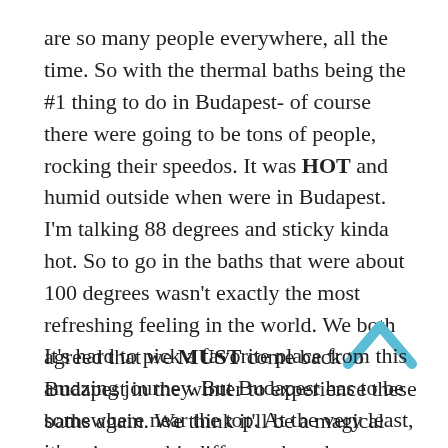are so many people everywhere, all the time. So with the thermal baths being the #1 thing to do in Budapest- of course there were going to be tons of people, rocking their speedos. It was HOT and humid outside when were in Budapest. I'm talking 88 degrees and sticky kinda hot. So to go in the baths that were about 100 degrees wasn't exactly the most refreshing feeling in the world. We both agreed that we MUST come back to Budapest in the winter to experience these baths again. We think it'll be a magical experience, a bit different than the one we had. Nonetheless, these baths are highly recommended to check out and approved by the Bests!
It's hard to pick a favorite place from this amazing journey. But Budapest has to be somewhere near the top. At the very least, it's most in becomes of the places I would look back to